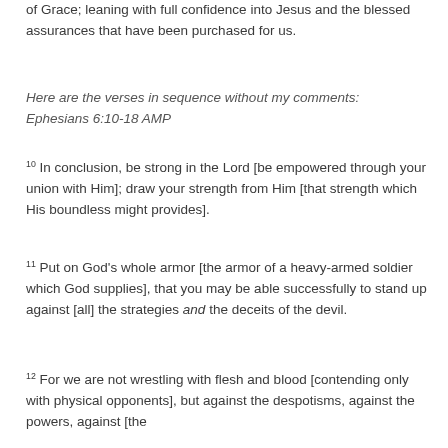of Grace; leaning with full confidence into Jesus and the blessed assurances that have been purchased for us.
Here are the verses in sequence without my comments:  Ephesians 6:10-18 AMP
10 In conclusion, be strong in the Lord [be empowered through your union with Him]; draw your strength from Him [that strength which His boundless might provides].
11 Put on God's whole armor [the armor of a heavy-armed soldier which God supplies], that you may be able successfully to stand up against [all] the strategies and the deceits of the devil.
12 For we are not wrestling with flesh and blood [contending only with physical opponents], but against the despotisms, against the powers, against [the